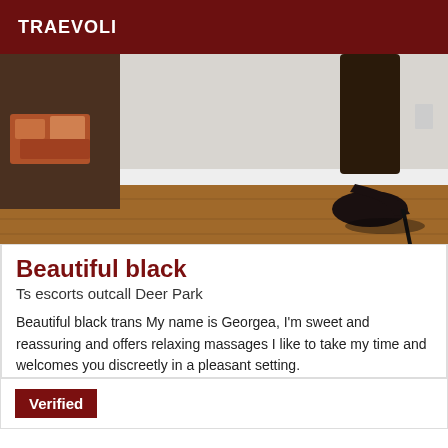TRAEVOLI
[Figure (photo): A photo showing legs in high heels and a white door with wooden floor background]
Beautiful black
Ts escorts outcall Deer Park
Beautiful black trans My name is Georgea, I'm sweet and reassuring and offers relaxing massages I like to take my time and welcomes you discreetly in a pleasant setting.
Verified